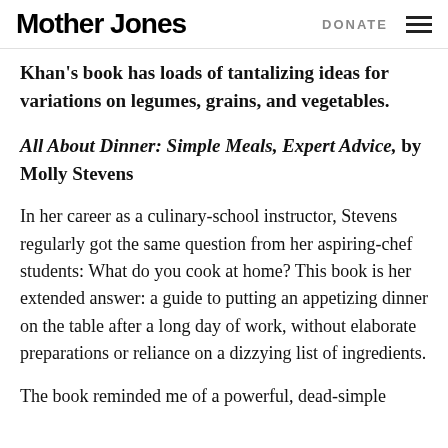Mother Jones | DONATE
Khan's book has loads of tantalizing ideas for variations on legumes, grains, and vegetables.
All About Dinner: Simple Meals, Expert Advice, by Molly Stevens
In her career as a culinary-school instructor, Stevens regularly got the same question from her aspiring-chef students: What do you cook at home? This book is her extended answer: a guide to putting an appetizing dinner on the table after a long day of work, without elaborate preparations or reliance on a dizzying list of ingredients.
The book reminded me of a powerful, dead-simple